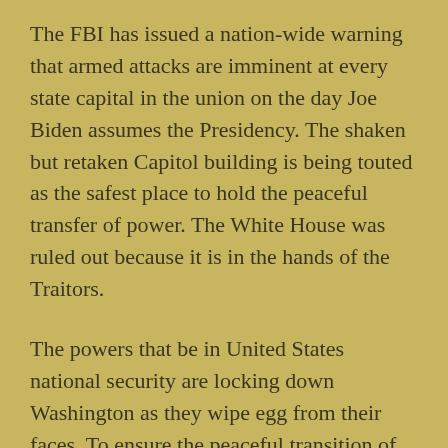The FBI has issued a nation-wide warning that armed attacks are imminent at every state capital in the union on the day Joe Biden assumes the Presidency. The shaken but retaken Capitol building is being touted as the safest place to hold the peaceful transfer of power. The White House was ruled out because it is in the hands of the Traitors.
The powers that be in United States national security are locking down Washington as they wipe egg from their faces. To ensure the peaceful transition of power, fences are up, the National Guard is mobilized, riots squads are drilling and the military drone operators who scope out snipers are practising flight maneuvers.